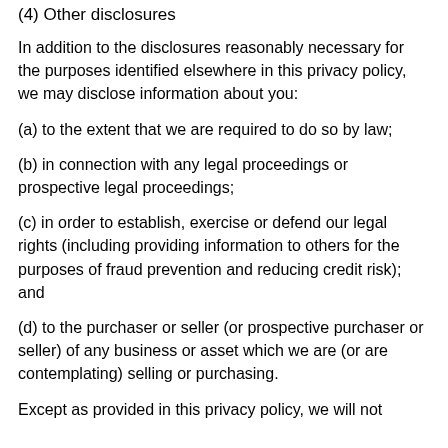(4) Other disclosures
In addition to the disclosures reasonably necessary for the purposes identified elsewhere in this privacy policy, we may disclose information about you:
(a) to the extent that we are required to do so by law;
(b) in connection with any legal proceedings or prospective legal proceedings;
(c) in order to establish, exercise or defend our legal rights (including providing information to others for the purposes of fraud prevention and reducing credit risk); and
(d) to the purchaser or seller (or prospective purchaser or seller) of any business or asset which we are (or are contemplating) selling or purchasing.
Except as provided in this privacy policy, we will not